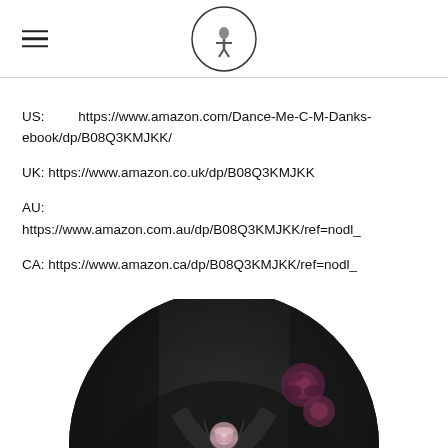[Logo with hamburger menu and circular author/site logo]
US: https://www.amazon.com/Dance-Me-C-M-Danks-ebook/dp/B08Q3KMJKK/
UK: https://www.amazon.co.uk/dp/B08Q3KMJKK
AU: https://www.amazon.com.au/dp/B08Q3KMJKK/ref=nodl_
CA: https://www.amazon.ca/dp/B08Q3KMJKK/ref=nodl_
[Figure (photo): Circular book cover image with dark moody background, a figure wearing a leather jacket with pink and dark roses visible, and cursive white text 'C M Danks' at the bottom. A purple scroll-to-top button is in the lower right of the circle.]